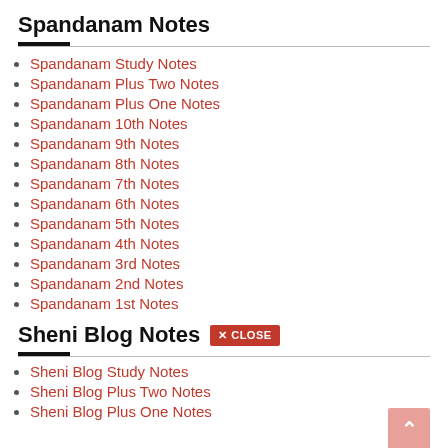Spandanam Notes
Spandanam Study Notes
Spandanam Plus Two Notes
Spandanam Plus One Notes
Spandanam 10th Notes
Spandanam 9th Notes
Spandanam 8th Notes
Spandanam 7th Notes
Spandanam 6th Notes
Spandanam 5th Notes
Spandanam 4th Notes
Spandanam 3rd Notes
Spandanam 2nd Notes
Spandanam 1st Notes
Sheni Blog Notes
Sheni Blog Study Notes
Sheni Blog Plus Two Notes
Sheni Blog Plus One Notes